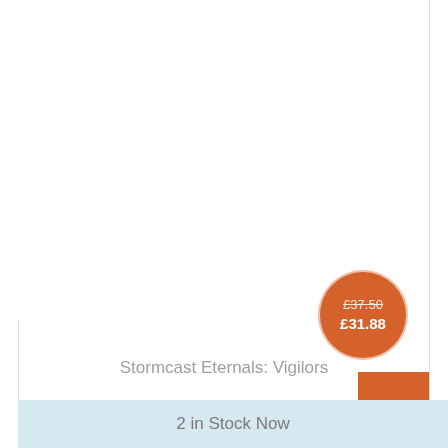[Figure (photo): Product image area for Stormcast Eternals: Vigilors (blank/white area)]
£37.50
£31.88
Stormcast Eternals: Vigilors
2 in Stock Now